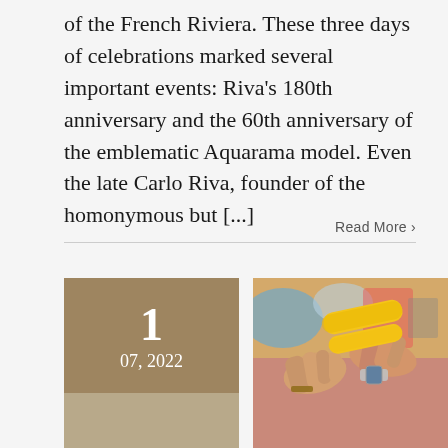of the French Riviera. These three days of celebrations marked several important events: Riva's 180th anniversary and the 60th anniversary of the emblematic Aquarama model. Even the late Carlo Riva, founder of the homonymous but [...]
Read More ›
1
07, 2022
[Figure (photo): Two hands passing a yellow relay baton on a track, one hand wearing a watch with a bracelet on the wrist of the receiving hand.]